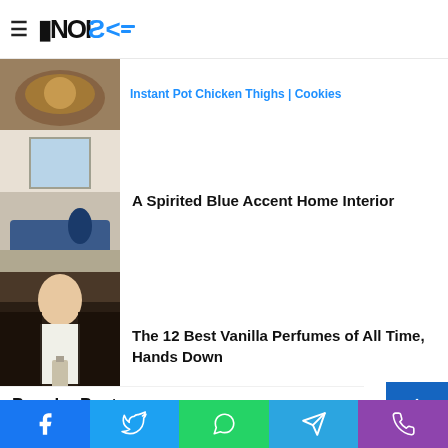NOISE logo with hamburger menu
Instant Pot Chicken Thighs | Cookies
[Figure (photo): Food photo partially visible at top]
A Spirited Blue Accent Home Interior
[Figure (photo): Interior room with blue accents and modern furniture]
The 12 Best Vanilla Perfumes of All Time, Hands Down
[Figure (photo): Woman in fur coat holding perfume bottle]
Ulta Flash Sale: $15 Deals From StriVectin, Clinique & More Today Only
[Figure (photo): Pink beauty products scattered]
Popular Posts